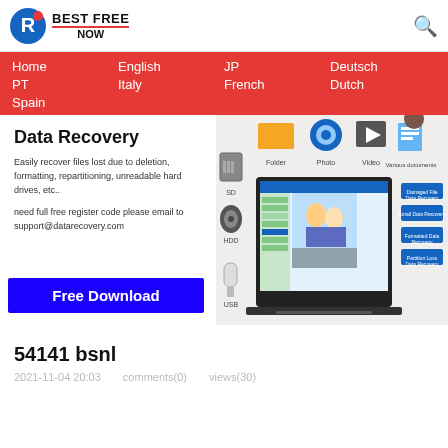[Figure (logo): Best Free Now logo with blue circular icon and bold text]
Home  English  JP  Deutsch  PT  Italy  French  Dutch  Spain
[Figure (screenshot): Data Recovery software banner with Free Download button, showing SD, HDD, USB icons and laptop screenshot with data recovery interface]
54141 bsnl
2021-11-04 20:03   comments(0)   views(30)